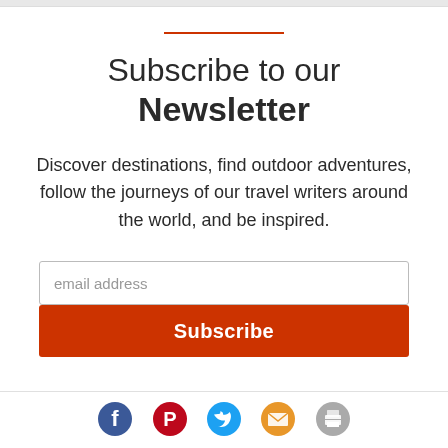Subscribe to our Newsletter
Discover destinations, find outdoor adventures, follow the journeys of our travel writers around the world, and be inspired.
[Figure (infographic): Email address input field with placeholder text 'email address' and a red Subscribe button below it]
[Figure (infographic): Social media icons: Facebook (blue), Pinterest (red), Twitter (light blue), Email (orange envelope), Print (grey printer)]